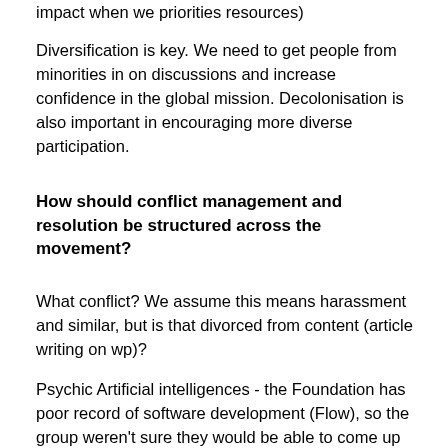impact when we priorities resources)
Diversification is key. We need to get people from minorities in on discussions and increase confidence in the global mission. Decolonisation is also important in encouraging more diverse participation.
How should conflict management and resolution be structured across the movement?
What conflict? We assume this means harassment and similar, but is that divorced from content (article writing on wp)?
Psychic Artificial intelligences - the Foundation has poor record of software development (Flow), so the group weren't sure they would be able to come up with good